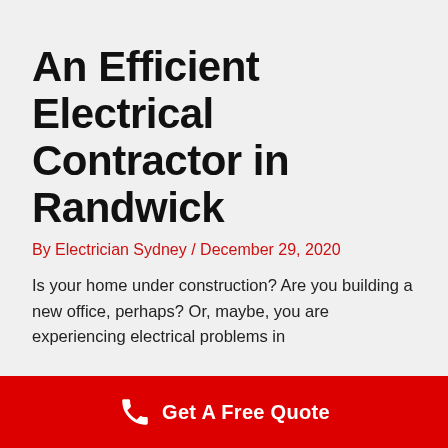An Efficient Electrical Contractor in Randwick
By Electrician Sydney / December 29, 2020
Is your home under construction? Are you building a new office, perhaps? Or, maybe, you are experiencing electrical problems in
[Figure (infographic): Red footer bar with phone icon and 'Get A Free Quote' text]